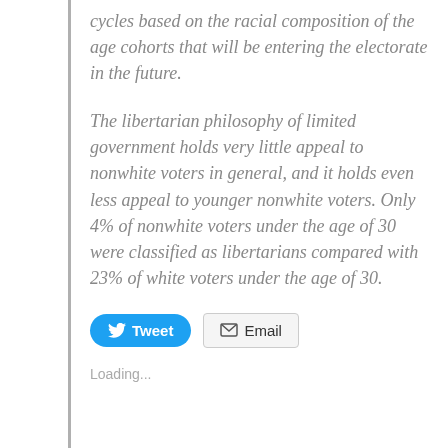cycles based on the racial composition of the age cohorts that will be entering the electorate in the future.
The libertarian philosophy of limited government holds very little appeal to nonwhite voters in general, and it holds even less appeal to younger nonwhite voters. Only 4% of nonwhite voters under the age of 30 were classified as libertarians compared with 23% of white voters under the age of 30.
[Figure (other): Tweet and Email share buttons]
Loading...